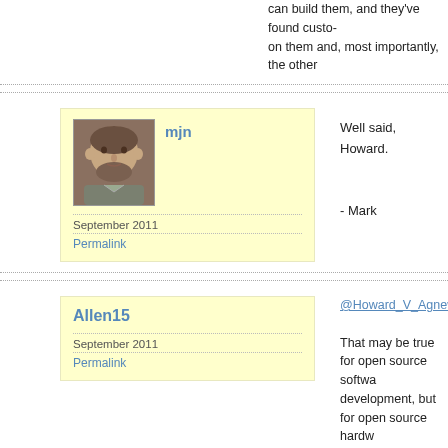can build them, and they've found customers on them and, most importantly, the other
Well said, Howard.

- Mark
mjn
September 2011
Permalink
@Howard_V_Agnew

That may be true for open source software development, but for open source hardware code" as it were, isn't readily available.

A "users manual" isn't what is sorely miss how. What is or has been revised, and w current setup, and the world at large, in a even find out about the iterations until lor direction that would seem not to hold up
Allen15
September 2011
Permalink